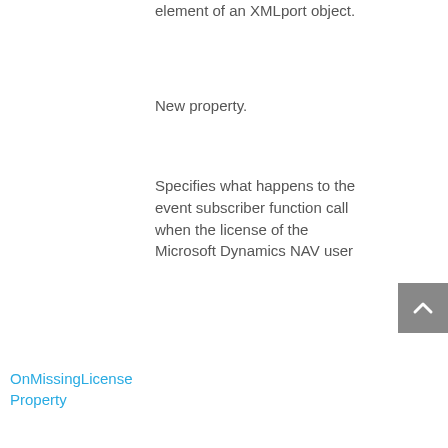element of an XMLport object.
New property.
Specifies what happens to the event subscriber function call when the license of the Microsoft Dynamics NAV user
OnMissingLicense Property